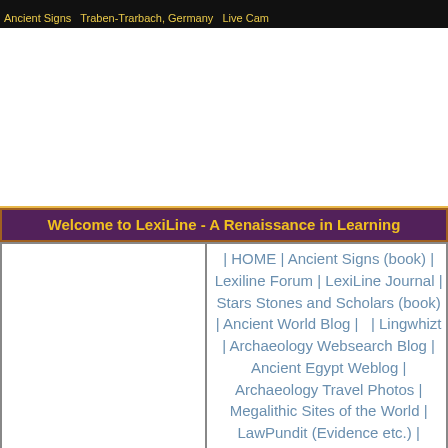Ancient Signs  Traben-Trarbach, Germany  Live Cam
Welcome to LexiLine - A Renaissance in Learning
| HOME | Ancient Signs (book) | Lexiline Forum | LexiLine Journal | Stars Stones and Scholars (book) | Ancient World Blog | | Lingwhizt | Archaeology Websearch Blog | Ancient Egypt Weblog | Archaeology Travel Photos | Megalithic Sites of the World | LawPundit (Evidence etc.) |